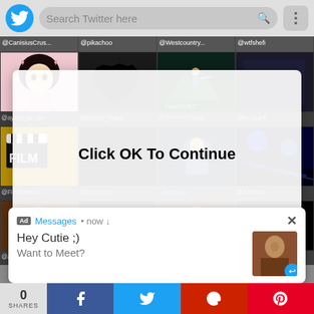[Figure (screenshot): Twitter mobile app screenshot showing search bar with Twitter bird logo, a grid of user profile avatars with usernames (@CanisiusCrus..., @pikachoo, @Westcountry..., @wtfshefi, @ayami_se...pu, @Emami_Majid, @TheHuntToken, @to...cuir3, @FilmtheHous..., @jamesasm, ...ketsukyy, @XXXCnp, @alex), a modal dialog saying 'Click OK To Continue' with an OK button, and a notification popup saying 'Ad Messages • now ↓' with message 'Hey Cutie ;) Want to Meet?' and a thumbnail image, plus a share bar at the bottom showing 0 SHARES.]